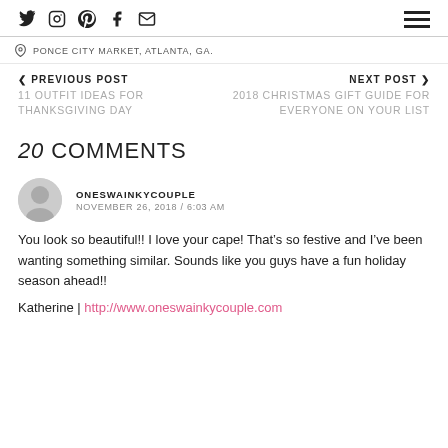Social icons: Twitter, Instagram, Pinterest, Facebook, Email | Hamburger menu
PONCE CITY MARKET, ATLANTA, GA.
< PREVIOUS POST
11 OUTFIT IDEAS FOR THANKSGIVING DAY
NEXT POST >
2018 CHRISTMAS GIFT GUIDE FOR EVERYONE ON YOUR LIST
20 COMMENTS
ONESWAINKYCOUPLE
NOVEMBER 26, 2018 / 6:03 AM
You look so beautiful!! I love your cape! That’s so festive and I’ve been wanting something similar. Sounds like you guys have a fun holiday season ahead!!
Katherine | http://www.oneswainkycouple.com